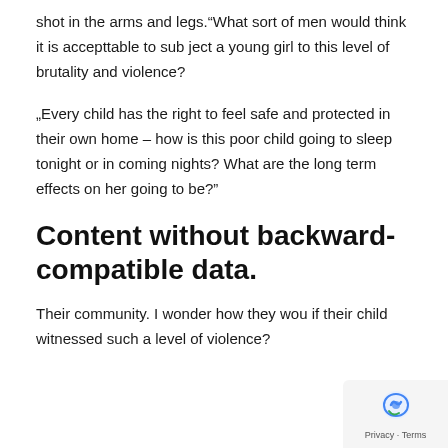shot in the arms and legs.“What sort of men would think it is accepttable to sub ject a young girl to this level of brutality and violence?
„Every child has the right to feel safe and protected in their own home – how is this poor child going to sleep tonight or in coming nights? What are the long term effects on her going to be?”
Content without backward-compatible data.
Their community. I wonder how they wou if their child witnessed such a level of violence?